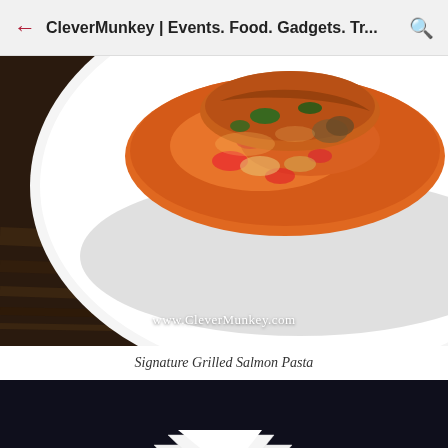CleverMunkey | Events. Food. Gadgets. Tr...
[Figure (photo): Close-up food photo of Signature Grilled Salmon Pasta on a white plate, showing orange-red sauce with vegetables and grilled salmon, placed on a dark wooden table. Watermark reads www.CleverMunkey.com]
Signature Grilled Salmon Pasta
[Figure (photo): Dark background photo showing white stacked or folded napkins/papers arranged in a fan or boat shape, bottom portion of image]